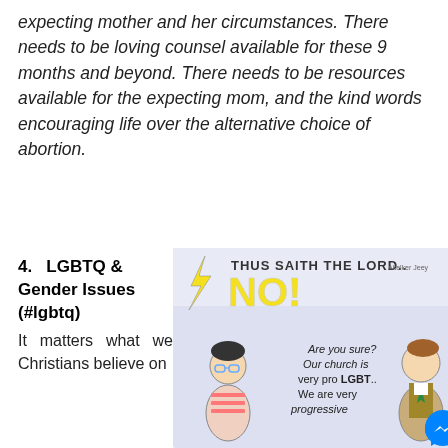expecting mother and her circumstances. There needs to be loving counsel available for these 9 months and beyond. There needs to be resources available for the expecting mom, and the kind words encouraging life over the alternative choice of abortion.
4.  LGBTQ & Gender Issues (#lgbtq)
[Figure (illustration): Cartoon with text 'THUS SAITH THE LORD.. NO!' at top in yellow with lightning bolt. Below text reads 'Are you sure? Our church is very pro LGBT.. We are very progressive' with two cartoon figures facing each other. A Facebook Messenger icon is in the bottom right corner.]
It matters what we Christians believe on